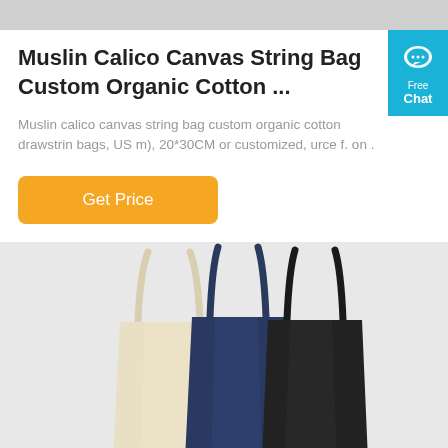[Figure (photo): Top portion of a product listing page, gray banner image at top]
Muslin Calico Canvas String Bag Custom Organic Cotton ...
Muslin calico canvas string bag custom organic cotton drawstring bags, US m), 20*30CM or customized, urce f. on .
[Figure (other): Free Chat widget button in cyan/blue on the right side]
[Figure (photo): Three tote bags hanging on a wall: cream/natural colored bag on left, navy blue bag in center, dark charcoal/black bag on right]